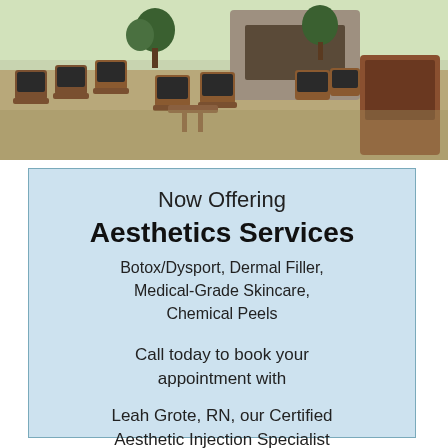[Figure (photo): Interior waiting room of a medical office with wooden chairs upholstered in dark leather, plants, a stone fireplace, and large windows in the background.]
Now Offering
Aesthetics Services
Botox/Dysport, Dermal Filler, Medical-Grade Skincare, Chemical Peels
Call today to book your appointment with
Leah Grote, RN, our Certified Aesthetic Injection Specialist 218-741-4411